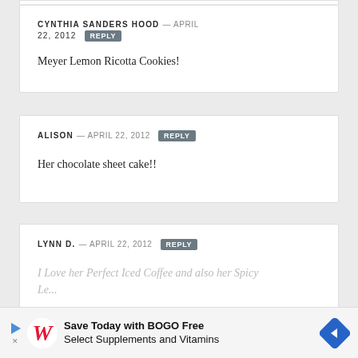CYNTHIA SANDERS HOOD – APRIL 22, 2012 [REPLY]
Meyer Lemon Ricotta Cookies!
ALISON – APRIL 22, 2012 [REPLY]
Her chocolate sheet cake!!
LYNN D. – APRIL 22, 2012 [REPLY]
I Love her Perfect Iced Coffee and also her Spicy Le...
[Figure (other): Walgreens advertisement banner: Save Today with BOGO Free Select Supplements and Vitamins]